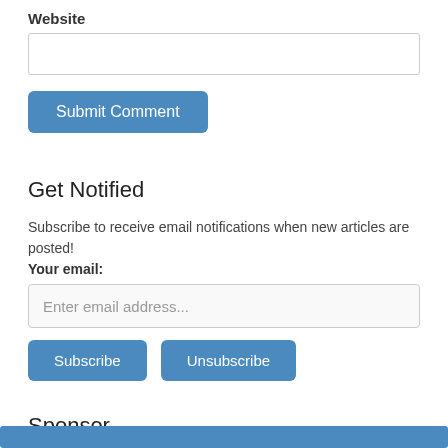Website
Submit Comment
Get Notified
Subscribe to receive email notifications when new articles are posted!
Your email:
Enter email address...
Subscribe
Unsubscribe
Sponsor